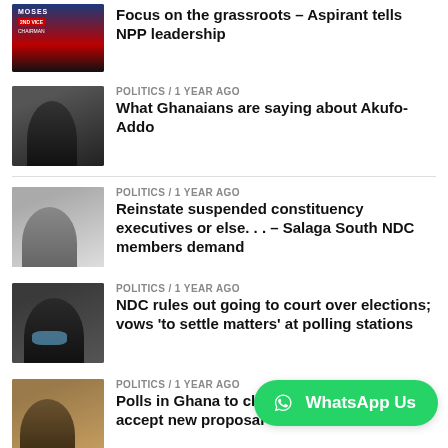Focus on the grassroots – Aspirant tells NPP leadership
POLITICS / 1 year ago
What Ghanaians are saying about Akufo-Addo
POLITICS / 1 year ago
Reinstate suspended constituency executives or else. . . – Salaga South NDC members demand
POLITICS / 1 year ago
NDC rules out going to court over elections; vows 'to settle matters' at polling stations
POLITICS / 1 year ago
Polls in Ghana to close – stakeholders accept new proposal